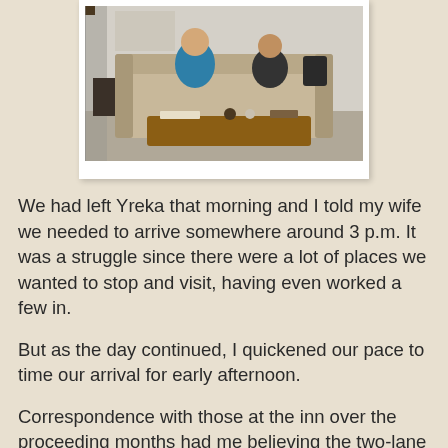[Figure (photo): Photo of two people sitting on a couch/sofa in a living room with a wooden coffee table in front of them. The room has light-colored walls and carpet.]
We had left Yreka that morning and I told my wife we needed to arrive somewhere around 3 p.m. It was a struggle since there were a lot of places we wanted to stop and visit, having even worked a few in.
But as the day continued, I quickened our pace to time our arrival for early afternoon.
Correspondence with those at the inn over the proceeding months had me believing the two-lane road from Highway 101 to the coast was going to be a challenge.
I was led to believe that it was almost one-lane in places with gravel or dirt covering and difficult to maneuver especially going over what I expected to